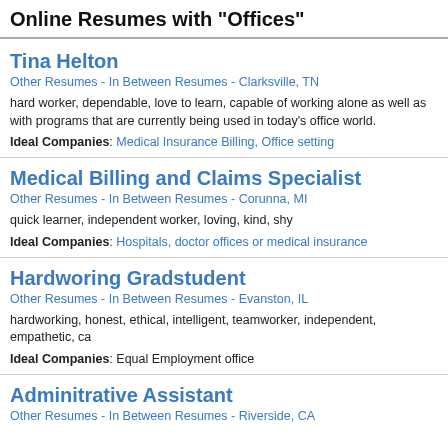Online Resumes with "Offices"
Tina Helton
Other Resumes - In Between Resumes - Clarksville, TN
hard worker, dependable, love to learn, capable of working alone as well as with programs that are currently being used in today's office world.
Ideal Companies: Medical Insurance Billing, Office setting
Medical Billing and Claims Specialist
Other Resumes - In Between Resumes - Corunna, MI
quick learner, independent worker, loving, kind, shy
Ideal Companies: Hospitals, doctor offices or medical insurance
Hardworing Gradstudent
Other Resumes - In Between Resumes - Evanston, IL
hardworking, honest, ethical, intelligent, teamworker, independent, empathetic, ca
Ideal Companies: Equal Employment office
Adminitrative Assistant
Other Resumes - In Between Resumes - Riverside, CA